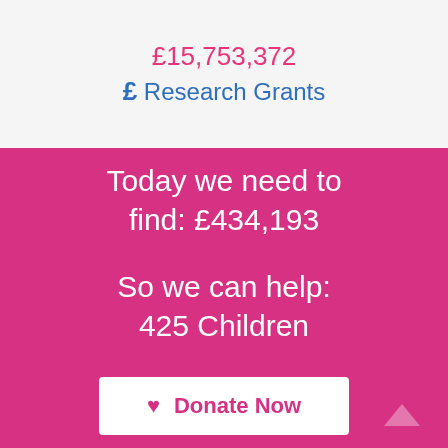£15,753,372
£ Research Grants
Today we need to find: £434,193
So we can help: 425 Children
♥ Donate Now